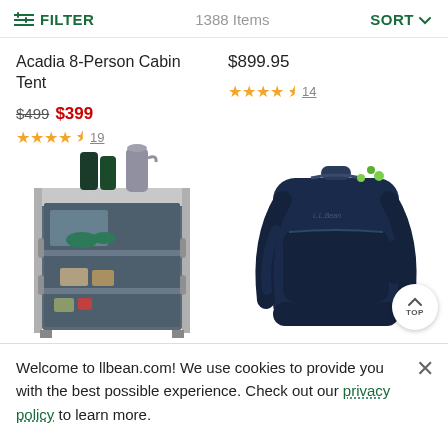FILTER   1388 Items   SORT
Acadia 8-Person Cabin Tent
$499 $399
★★★★½ 19
$899.95
★★★★½ 14
[Figure (photo): L.L.Bean camping kitchen cabinet/chuck box with shelves holding cookware, cups, and a kettle on top]
[Figure (photo): L.L.Bean navy blue backpack with green zipper accents]
Welcome to llbean.com! We use cookies to provide you with the best possible experience. Check out our privacy policy to learn more.